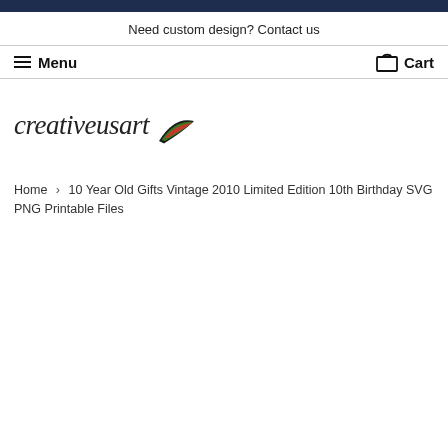Need custom design? Contact us
Menu
Cart
[Figure (logo): creativeusart logo with swoosh graphic in black, green and red colors]
Home › 10 Year Old Gifts Vintage 2010 Limited Edition 10th Birthday SVG PNG Printable Files